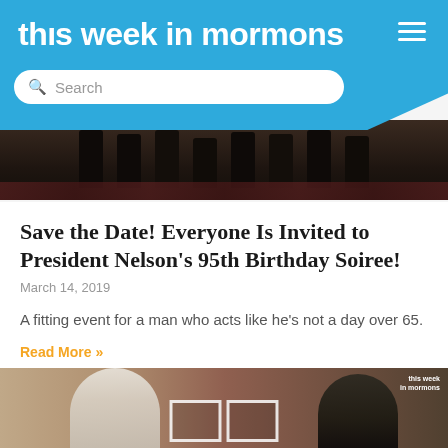this week in mormons
[Figure (photo): Dark photo of people seated in formal setting, possibly a legislative or conference chamber]
Save the Date! Everyone Is Invited to President Nelson's 95th Birthday Soiree!
March 14, 2019
A fitting event for a man who acts like he's not a day over 65.
Read More »
[Figure (photo): Photo of Pope Francis and President Russell M. Nelson meeting, with 'this week in mormons' watermark and play button overlay]